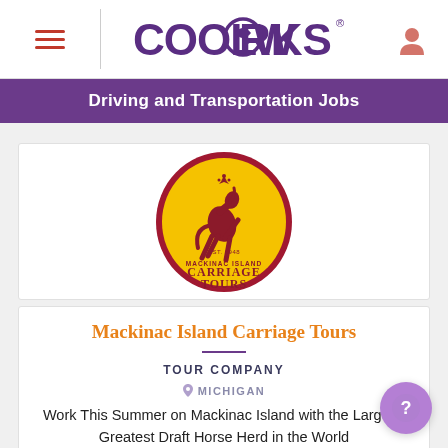CoolWorks
Driving and Transportation Jobs
[Figure (logo): Mackinac Island Carriage Tours logo: yellow oval with dark red border, rearing horse with crown, text MACKINAC ISLAND CARRIAGE TOURS EST. 1948]
Mackinac Island Carriage Tours
TOUR COMPANY
MICHIGAN
Work This Summer on Mackinac Island with the Largest, Greatest Draft Horse Herd in the World